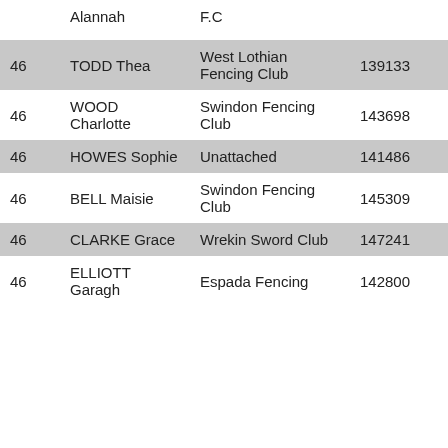| Rank | Name | Club | License | Points |
| --- | --- | --- | --- | --- |
|  | Alannah | F.C |  |  |
| 46 | TODD Thea | West Lothian Fencing Club | 139133 | 0 |
| 46 | WOOD Charlotte | Swindon Fencing Club | 143698 | 0 |
| 46 | HOWES Sophie | Unattached | 141486 | 0 |
| 46 | BELL Maisie | Swindon Fencing Club | 145309 | 0 |
| 46 | CLARKE Grace | Wrekin Sword Club | 147241 | 0 |
| 46 | ELLIOTT Garagh | Espada Fencing | 142800 | 0 |